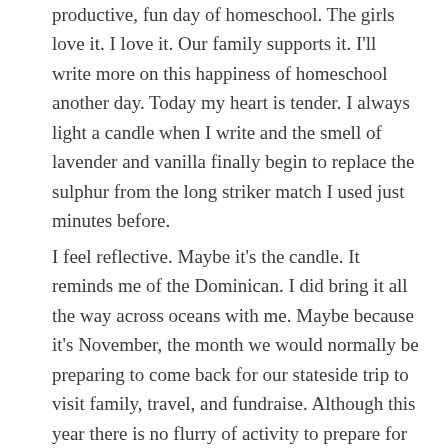productive, fun day of homeschool. The girls love it. I love it. Our family supports it. I'll write more on this happiness of homeschool another day. Today my heart is tender. I always light a candle when I write and the smell of lavender and vanilla finally begin to replace the sulphur from the long striker match I used just minutes before.
I feel reflective. Maybe it's the candle. It reminds me of the Dominican. I did bring it all the way across oceans with me. Maybe because it's November, the month we would normally be preparing to come back for our stateside trip to visit family, travel, and fundraise. Although this year there is no flurry of activity to prepare for our departure. There are no meetings being setup, no church visits or speaking engagements, no dinners in cities where we will